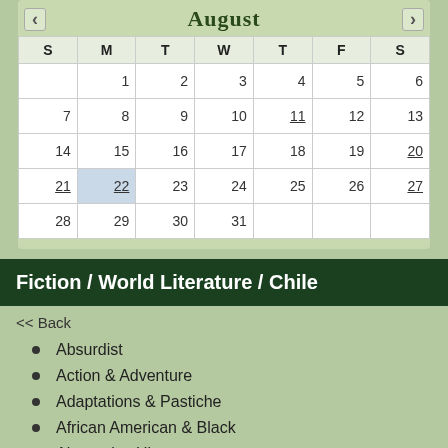August
| S | M | T | W | T | F | S |
| --- | --- | --- | --- | --- | --- | --- |
|  | 1 | 2 | 3 | 4 | 5 | 6 |
| 7 | 8 | 9 | 10 | 11 | 12 | 13 |
| 14 | 15 | 16 | 17 | 18 | 19 | 20 |
| 21 | 22 | 23 | 24 | 25 | 26 | 27 |
| 28 | 29 | 30 | 31 |  |  |  |
Fiction / World Literature / Chile
<< Back
Absurdist
Action & Adventure
Adaptations & Pastiche
African American & Black
Alternative History
Amish & Mennonite
Animals